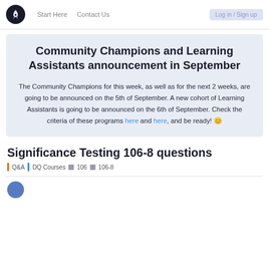Start Here  Contact Us
Community Champions and Learning Assistants announcement in September
The Community Champions for this week, as well as for the next 2 weeks, are going to be announced on the 5th of September. A new cohort of Learning Assistants is going to be announced on the 6th of September. Check the criteria of these programs here and here, and be ready! 🙂
Significance Testing 106-8 questions
Q&A  DQ Courses  106  106-8